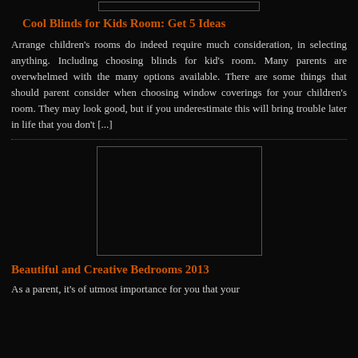[Figure (other): Small image placeholder at top of page, outlined rectangle on black background]
Cool Blinds for Kids Room: Get 5 Ideas
Arrange children's rooms do indeed require much consideration, in selecting anything. Including choosing blinds for kid's room. Many parents are overwhelmed with the many options available. There are some things that should parent consider when choosing window coverings for your children's room. They may look good, but if you underestimate this will bring trouble later in life that you don't [...]
[Figure (other): Large image placeholder, outlined rectangle on black background]
Beautiful and Creative Bedrooms 2013
As a parent, it's of utmost importance for you that your